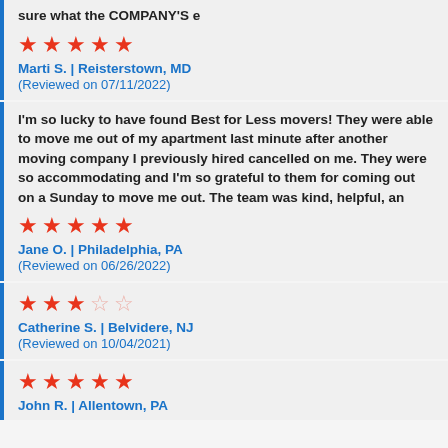sure what the COMPANY'S e
★★★★★
Marti S. | Reisterstown, MD
(Reviewed on 07/11/2022)
I'm so lucky to have found Best for Less movers! They were able to move me out of my apartment last minute after another moving company I previously hired cancelled on me. They were so accommodating and I'm so grateful to them for coming out on a Sunday to move me out. The team was kind, helpful, an
★★★★★
Jane O. | Philadelphia, PA
(Reviewed on 06/26/2022)
★★★☆☆
Catherine S. | Belvidere, NJ
(Reviewed on 10/04/2021)
★★★★★
John R. | Allentown, PA